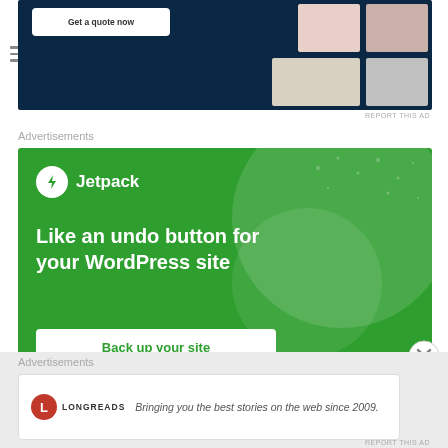[Figure (screenshot): Partially visible website builder advertisement with dark navy background and a 'Get a quote now' button, with photo thumbnails on the right]
REPORT THIS AD
Advertisements
[Figure (infographic): Jetpack advertisement with green background. Shows Jetpack logo (lightning bolt icon) and text 'Like an undo button for your WordPress site' with a 'Back up your site' button]
Advertisements
[Figure (logo): Longreads advertisement with circular red logo and text 'Bringing you the best stories on the web since 2009.']
REPORT THIS AD